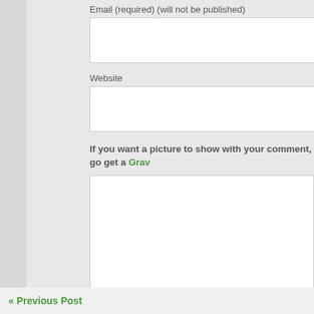Email (required) (will not be published)
Website
If you want a picture to show with your comment, go get a Grav
submit comment
« Previous Post